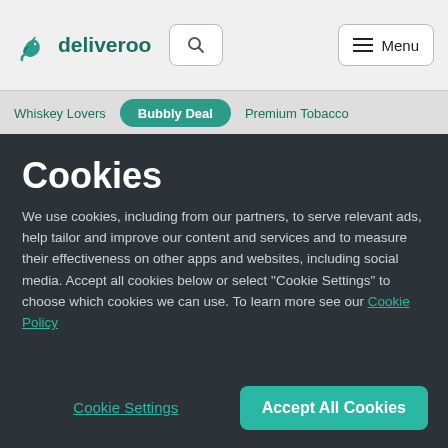[Figure (logo): Deliveroo logo with kangaroo icon and text]
Whiskey Lovers | Bubbly Deal | Premium Tobacco
Cookies
We use cookies, including from our partners, to serve relevant ads, help tailor and improve our content and services and to measure their effectiveness on other apps and websites, including social media. Accept all cookies below or select “Cookie Settings” to choose which cookies we can use. To learn more see our Cookie Policy
Cookie Settings | Accept All Cookies